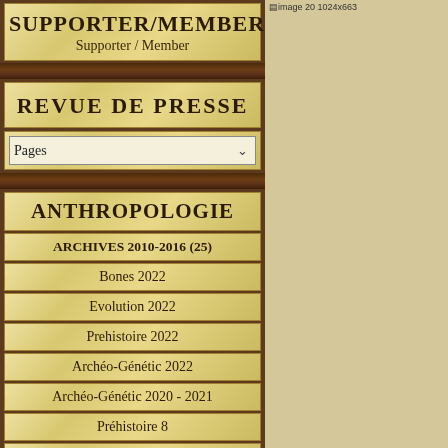SUPPORTER/MEMBER
Supporter / Member
REVUE DE PRESSE
Pages
ANTHROPOLOGIE
ARCHIVES 2010-2016 (25)
Bones 2022
Evolution 2022
Prehistoire 2022
Archéo-Génétic 2022
Archéo-Génétic 2020 - 2021
Préhistoire 8
Archéo-génétique 2018-2019
Archéo-Génétique 2017
[Figure (screenshot): Right column showing a beige/tan textured background with partial text at top reading 'image 20 1024x663']